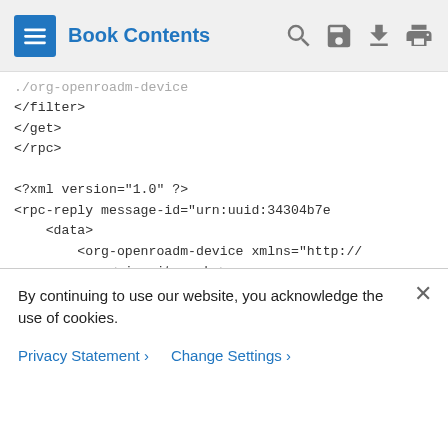Book Contents
./org-openroadm-device
</filter>
</get>
</rpc>

<?xml version="1.0" ?>
<rpc-reply message-id="urn:uuid:34304b7e
    <data>
        <org-openroadm-device xmlns="http://
            <circuit-packs>
                <ports>
                    <port-name>0/1/0/1</port-name>
                    <port-capabilities xmlns="http
                        <supported-interface-capabil
                            <if-cap-type xmlns:org-ope
By continuing to use our website, you acknowledge the use of cookies.
Privacy Statement > Change Settings >